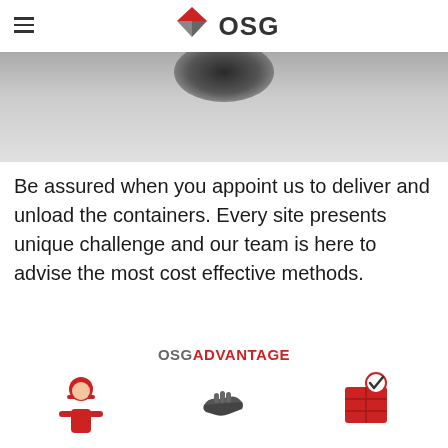OSG
[Figure (photo): Hero image showing a partially visible dark object against a light grey gradient background]
Be assured when you appoint us to deliver and unload the containers. Every site presents unique challenge and our team is here to advise the most cost effective methods.
[Figure (infographic): OSG ADVANTAGE section with icons representing delivery person, handshake, and container inspection]